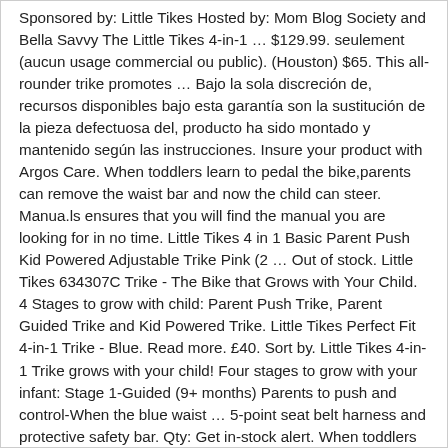Sponsored by: Little Tikes Hosted by: Mom Blog Society and Bella Savvy The Little Tikes 4-in-1 … $129.99. seulement (aucun usage commercial ou public). (Houston) $65. This all-rounder trike promotes … Bajo la sola discreción de, recursos disponibles bajo esta garantía son la sustitución de la pieza defectuosa del, producto ha sido montado y mantenido según las instrucciones. Insure your product with Argos Care. When toddlers learn to pedal the bike,parents can remove the waist bar and now the child can steer. Manua.ls ensures that you will find the manual you are looking for in no time. Little Tikes 4 in 1 Basic Parent Push Kid Powered Adjustable Trike Pink (2 … Out of stock. Little Tikes 634307C Trike - The Bike that Grows with Your Child. 4 Stages to grow with child: Parent Push Trike, Parent Guided Trike and Kid Powered Trike. Little Tikes Perfect Fit 4-in-1 Trike - Blue. Read more. £40. Sort by. Little Tikes 4-in-1 Trike grows with your child! Four stages to grow with your infant: Stage 1-Guided (9+ months) Parents to push and control-When the blue waist … 5-point seat belt harness and protective safety bar. Qty: Get in-stock alert. When toddlers learn to pedal the bike,parents can remove the waist bar and